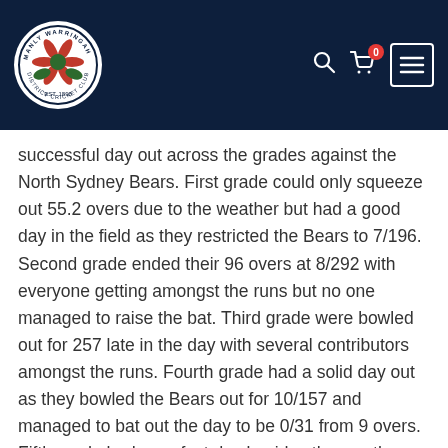Manly Warringah District Cricket Club website header with logo, search, cart (0), and menu icons
successful day out across the grades against the North Sydney Bears. First grade could only squeeze out 55.2 overs due to the weather but had a good day in the field as they restricted the Bears to 7/196. Second grade ended their 96 overs at 8/292 with everyone getting amongst the runs but no one managed to raise the bat. Third grade were bowled out for 257 late in the day with several contributors amongst the runs. Fourth grade had a solid day out as they bowled the Bears out for 10/157 and managed to bat out the day to be 0/31 from 9 overs. Fifth grade had a perfect day besides the weather as they sit on 0/164 from only 49.4 overs. All the grades look in solid positions and we will have to play wel again next week in order to come away with positive results.